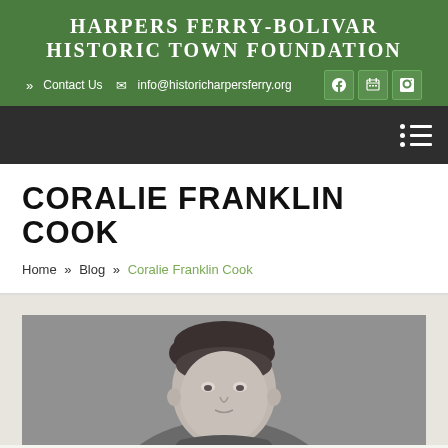Harpers Ferry-Bolivar Historic Town Foundation
» Contact Us  info@historicharpersferry.org
CORALIE FRANKLIN COOK
Home » Blog » Coralie Franklin Cook
[Figure (photo): Black and white portrait photograph of Coralie Franklin Cook, showing a woman with upswept dark hair, viewed from roughly the shoulders up against a gray background.]